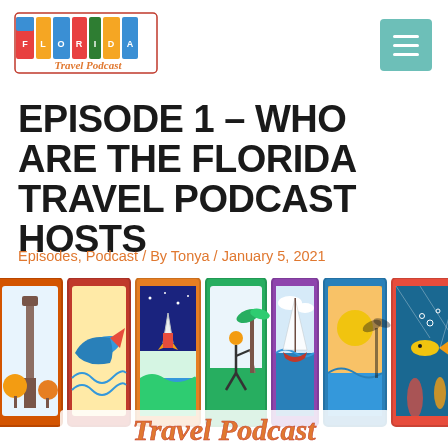Florida Travel Podcast logo and navigation menu
EPISODE 1 – WHO ARE THE FLORIDA TRAVEL PODCAST HOSTS
Episodes, Podcast / By Tonya / January 5, 2021
[Figure (illustration): Colorful illustrated Florida Travel Podcast logo image with large retro-style 'FLORIDA' letters containing scenic images of Florida landmarks and nature, with 'Travel Podcast' script below in orange/gold lettering]